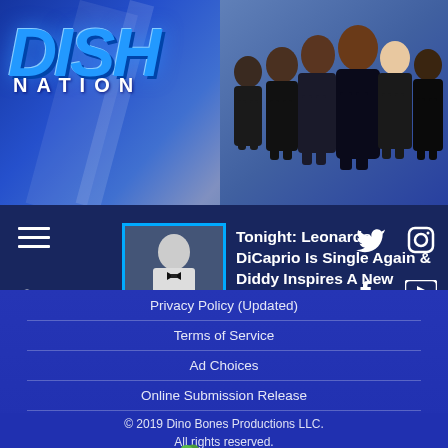[Figure (screenshot): Dish Nation TV show logo with blue metallic DISH text and white NATION text below]
[Figure (photo): Group photo of Dish Nation cast members dressed in black against blue background]
[Figure (screenshot): Navigation bar with hamburger menu, search icon, news thumbnail of Leonardo DiCaprio, social media icons]
Tonight: Leonardo DiCaprio Is Single Again & Diddy Inspires A New Dance Challenge!
Privacy Policy (Updated)
Terms of Service
Ad Choices
Online Submission Release
© 2019 Dino Bones Productions LLC. All rights reserved.
[Figure (logo): Georgia state peach logo with green leaf and orange peach with text Georgia in green italic script]